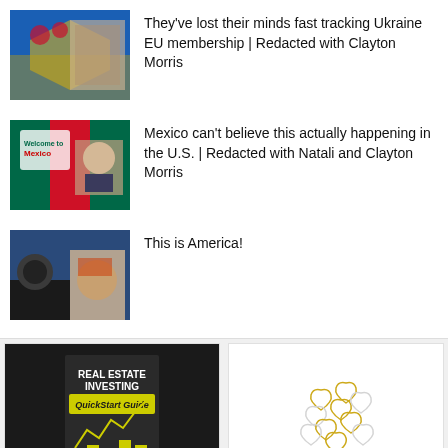They've lost their minds fast tracking Ukraine EU membership | Redacted with Clayton Morris
Mexico can't believe this actually happening in the U.S. | Redacted with Natali and Clayton Morris
This is America!
[Figure (photo): Book cover: Real Estate Investing QuickStart Guide]
Real Estate Investing...
[Figure (photo): Heart-shaped paper clips in gold and silver]
Heart-Shaped Paper Cli...